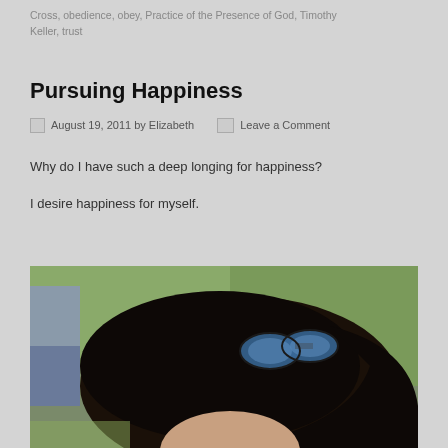Cross, obedience, obey, Practice of the Presence of God, Timothy Keller, trust
Pursuing Happiness
August 19, 2011 by Elizabeth   Leave a Comment
Why do I have such a deep longing for happiness?
I desire happiness for myself.
[Figure (photo): Close-up photo of a dark-haired woman wearing sunglasses on top of her head, outdoors with green foliage in the background]